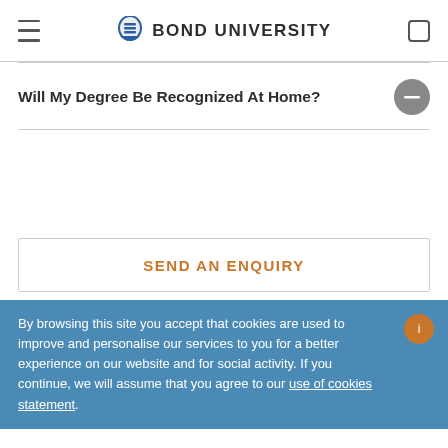BOND UNIVERSITY
Will My Degree Be Recognized At Home?
SEND AN ENQUIRY
By browsing this site you accept that cookies are used to improve and personalise our services to you for a better experience on our website and for social activity. If you continue, we will assume that you agree to our use of cookies statement.